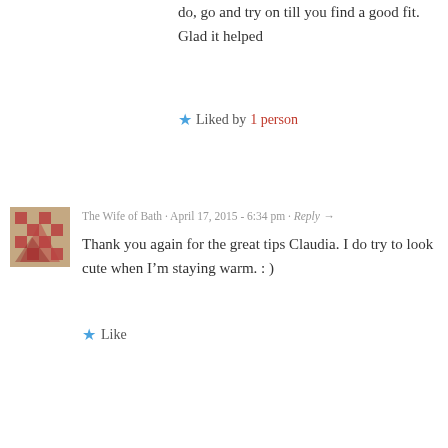do, go and try on till you find a good fit. Glad it helped
★ Liked by 1person
The Wife of Bath · April 17, 2015 - 6:34 pm · Reply →
Thank you again for the great tips Claudia. I do try to look cute when I'm staying warm. : )
★ Like
einsteinsbarber · April 18, 2015 - 10:07 am · Reply →
Awesome post! I have a pair of walking shoes, but I always go for airy choice when I can! —> https://einsteinsbarbershop.files.wordpress.com/2015/04/im
Although the range seems ok here in Aus (although by no means gender balanced).